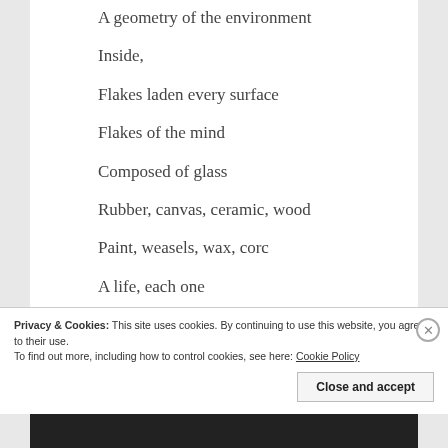A geometry of the environment
Inside,
Flakes laden every surface
Flakes of the mind
Composed of glass
Rubber, canvas, ceramic, wood
Paint, weasels, wax, corc
A life, each one
A geometry of being
Drawn into nothing
Privacy & Cookies: This site uses cookies. By continuing to use this website, you agree to their use.
To find out more, including how to control cookies, see here: Cookie Policy
Close and accept